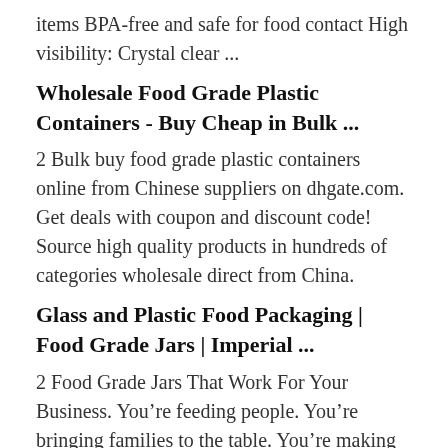items BPA-free and safe for food contact High visibility: Crystal clear ...
Wholesale Food Grade Plastic Containers - Buy Cheap in Bulk ...
2 Bulk buy food grade plastic containers online from Chinese suppliers on dhgate.com. Get deals with coupon and discount code! Source high quality products in hundreds of categories wholesale direct from China.
Glass and Plastic Food Packaging | Food Grade Jars | Imperial ...
2 Food Grade Jars That Work For Your Business. You’re feeding people. You’re bringing families to the table. You’re making people happy at work, school, home, and everywhere else. We’re here to make sure that your packaging matches the quality of your product. Our food grade glass and plastic food jars are designed to: Preserve